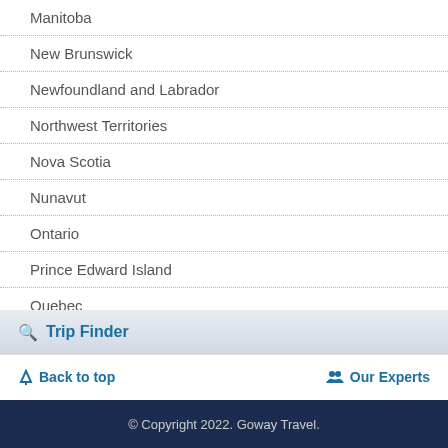Manitoba
New Brunswick
Newfoundland and Labrador
Northwest Territories
Nova Scotia
Nunavut
Ontario
Prince Edward Island
Quebec
Saskatchewan
Yukon
Trip Finder
Back to top
Our Experts
© Copyright 2022. Goway Travel.